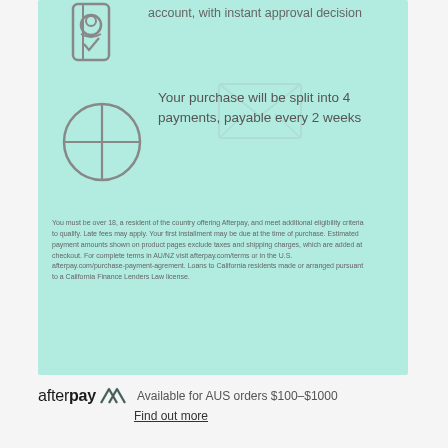[Figure (illustration): Phone/account icon with checkmark at top of green box]
account, with instant approval decision
[Figure (illustration): Circle divided into 4 quadrants (pie/payment split icon)]
Your purchase will be split into 4 payments, payable every 2 weeks
You must be over 18, a resident of the country offering Afterpay, and meet additional eligibility criteria to qualify. Late fees may apply. Your first installment may be due at the time of purchase. Estimated payment amounts shown on product pages exclude taxes and shipping charges, which are added at checkout. For complete terms in AU/NZ visit afterpay.com/terms or in the U.S. afterpay.com/purchase-payment-agrement. Loans to California residents made or arranged pursuant to a California Finance Lenders Law license.
[Figure (logo): Afterpay logo with afterpay wordmark and A^ symbol]
Available for AUS orders $100-$1000
Find out more